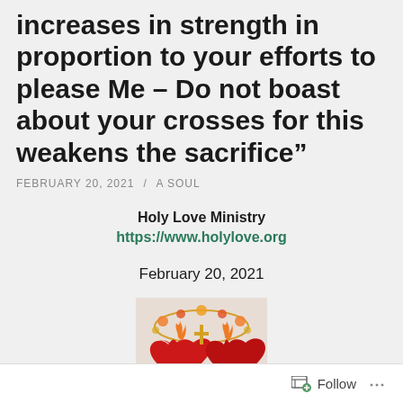increases in strength in proportion to your efforts to please Me – Do not boast about your crosses for this weakens the sacrifice”
FEBRUARY 20, 2021 / A SOUL
Holy Love Ministry
https://www.holylove.org
February 20, 2021
[Figure (illustration): Holy Love Ministry logo/emblem showing two red hearts with flames and floral decorations]
Follow ...